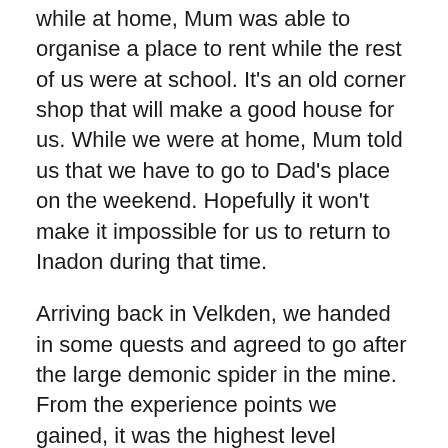while at home, Mum was able to organise a place to rent while the rest of us were at school. It's an old corner shop that will make a good house for us. While we were at home, Mum told us that we have to go to Dad's place on the weekend. Hopefully it won't make it impossible for us to return to Inadon during that time.
Arriving back in Velkden, we handed in some quests and agreed to go after the large demonic spider in the mine. From the experience points we gained, it was the highest level creature we've ever faced. We also gained spider eyes and fangs, which are alchemy ingredients. The eyes we traded for essence crystals. The people of Velkden gave us extra items for all we for them and Rodina said we're welcome to stay with her if we're ever in the area.
We're now on our way to Cutthroat Harbour and should arrive in the early hours of the morning. It feels like we've been working on heading to Cutthroat Harbour for a really long time.